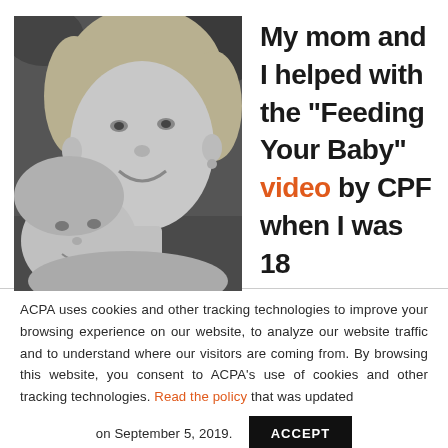[Figure (photo): Black and white photograph of a smiling woman with a young child cheek-to-cheek]
My mom and I helped with the “Feeding Your Baby” video by CPF when I was 18
ACPA uses cookies and other tracking technologies to improve your browsing experience on our website, to analyze our website traffic and to understand where our visitors are coming from. By browsing this website, you consent to ACPA’s use of cookies and other tracking technologies. Read the policy that was updated on September 5, 2019.
ACCEPT